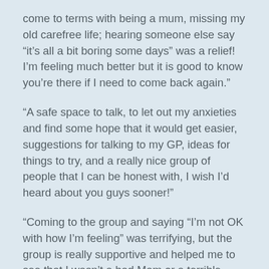come to terms with being a mum, missing my old carefree life; hearing someone else say “it’s all a bit boring some days” was a relief! I’m feeling much better but it is good to know you’re there if I need to come back again.”
“A safe space to talk, to let out my anxieties and find some hope that it would get easier, suggestions for talking to my GP, ideas for things to try, and a really nice group of people that I can be honest with, I wish I’d heard about you guys sooner!”
“Coming to the group and saying “I’m not OK with how I’m feeling” was terrifying, but the group is really supportive and helped me to see that I wasn’t a bad Mam or a terrible person, I was tired, burned out and struggling. I needed somewhere away from home to let all those worries and feelings out, and now I feel better I want to support others so I’m still in touch with the